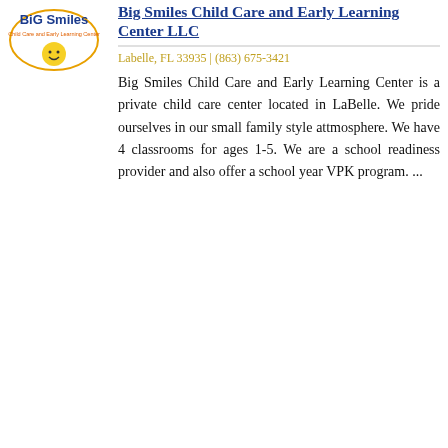[Figure (logo): Big Smiles Child Care and Early Learning Center logo — blue and orange text with a circular emblem]
Big Smiles Child Care and Early Learning Center LLC
Labelle, FL 33935 | (863) 675-3421
Big Smiles Child Care and Early Learning Center is a private child care center located in LaBelle. We pride ourselves in our small family style attmosphere. We have 4 classrooms for ages 1-5. We are a school readiness provider and also offer a school year VPK program. ...